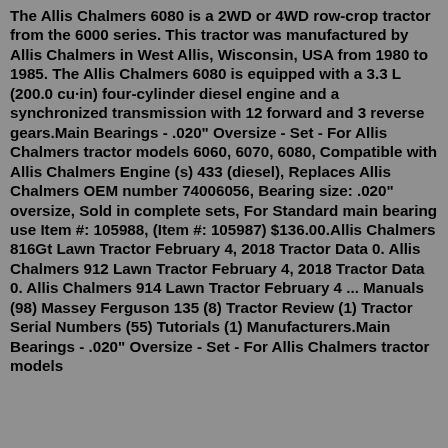The Allis Chalmers 6080 is a 2WD or 4WD row-crop tractor from the 6000 series. This tractor was manufactured by Allis Chalmers in West Allis, Wisconsin, USA from 1980 to 1985. The Allis Chalmers 6080 is equipped with a 3.3 L (200.0 cu·in) four-cylinder diesel engine and a synchronized transmission with 12 forward and 3 reverse gears.Main Bearings - .020" Oversize - Set - For Allis Chalmers tractor models 6060, 6070, 6080, Compatible with Allis Chalmers Engine (s) 433 (diesel), Replaces Allis Chalmers OEM number 74006056, Bearing size: .020" oversize, Sold in complete sets, For Standard main bearing use Item #: 105988, (Item #: 105987) $136.00.Allis Chalmers 816Gt Lawn Tractor February 4, 2018 Tractor Data 0. Allis Chalmers 912 Lawn Tractor February 4, 2018 Tractor Data 0. Allis Chalmers 914 Lawn Tractor February 4 ... Manuals (98) Massey Ferguson 135 (8) Tractor Review (1) Tractor Serial Numbers (55) Tutorials (1) Manufacturers.Main Bearings - .020" Oversize - Set - For Allis Chalmers tractor models